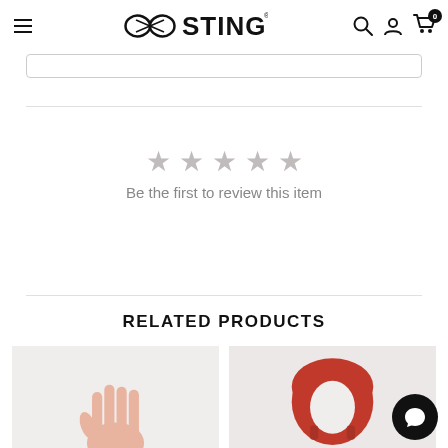STING
[Figure (screenshot): Sting sports brand logo with infinity-like swoosh symbol and STING wordmark]
Be the first to review this item
RELATED PRODUCTS
[Figure (photo): Hand/glove product photo on light background]
[Figure (photo): Red boxing headgear/helmet product photo]